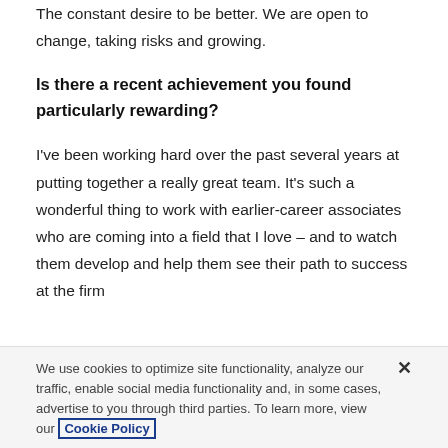The constant desire to be better. We are open to change, taking risks and growing.
Is there a recent achievement you found particularly rewarding?
I've been working hard over the past several years at putting together a really great team. It's such a wonderful thing to work with earlier-career associates who are coming into a field that I love – and to watch them develop and help them see their path to success at the firm
We use cookies to optimize site functionality, analyze our traffic, enable social media functionality and, in some cases, advertise to you through third parties. To learn more, view our Cookie Policy